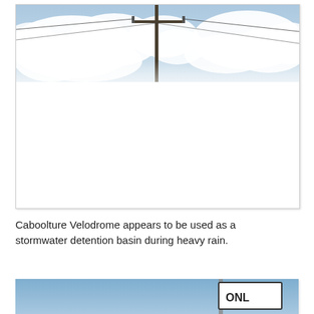[Figure (photo): Photograph showing a utility/power pole silhouetted against a dramatic cloudy sky with large white cumulus clouds. The bottom portion of the image is white/washed out.]
Caboolture Velodrome appears to be used as a stormwater detention basin during heavy rain.
[Figure (photo): Partial photograph showing a road sign (partially visible text 'ONL') against a blue sky background, cropped at the bottom of the page.]